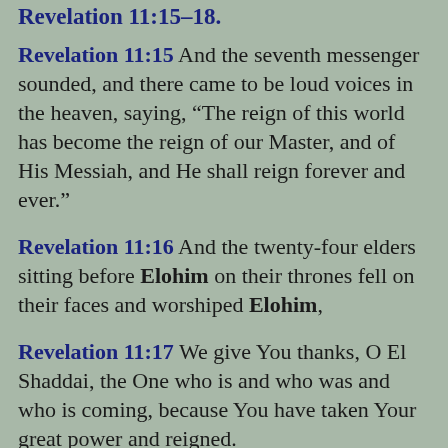Revelation 11:15-18.
Revelation 11:15 And the seventh messenger sounded, and there came to be loud voices in the heaven, saying, “The reign of this world has become the reign of our Master, and of His Messiah, and He shall reign forever and ever.”
Revelation 11:16 And the twenty-four elders sitting before Elohim on their thrones fell on their faces and worshiped Elohim,
Revelation 11:17 We give You thanks, O El Shaddai, the One who is and who was and who is coming, because You have taken Your great power and reigned.